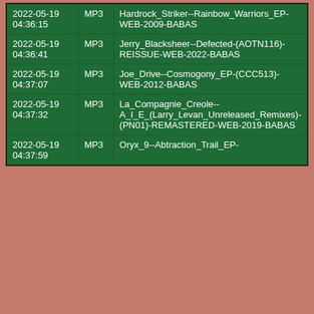| 2022-05-19 04:36:15 | MP3 | Hardrock_Striker--Rainbow_Warriors_EP-WEB-2009-BABAS |
| 2022-05-19 04:36:41 | MP3 | Jerry_Blacksheer--Defected-(AOTN116)-REISSUE-WEB-2022-BABAS |
| 2022-05-19 04:37:07 | MP3 | Joe_Drive--Cosmogony_EP-(CCC513)-WEB-2012-BABAS |
| 2022-05-19 04:37:32 | MP3 | La_Compagnie_Creole--A_I_E_(Larry_Levan_Unreleased_Remixes)-(PN01)-REMASTERED-WEB-2019-BABAS |
| 2022-05-19 04:37:59 | MP3 | Oryx_9--Abtraction_Trail_EP- |